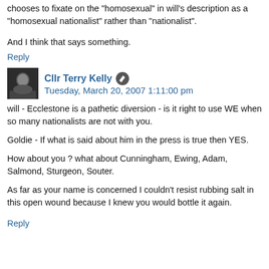chooses to fixate on the "homosexual" in will's description as a "homosexual nationalist" rather than "nationalist".
And I think that says something.
Reply
Cllr Terry Kelly  Tuesday, March 20, 2007 1:11:00 pm
will - Ecclestone is a pathetic diversion - is it right to use WE when so many nationalists are not with you.
Goldie - If what is said about him in the press is true then YES.
How about you ? what about Cunningham, Ewing, Adam, Salmond, Sturgeon, Souter.
As far as your name is concerned I couldn't resist rubbing salt in this open wound because I knew you would bottle it again.
Reply